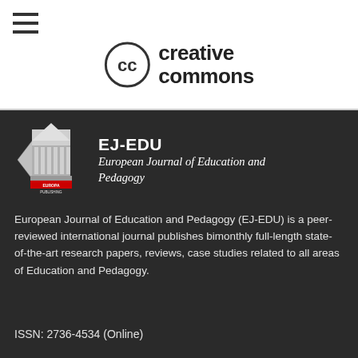[Figure (logo): Hamburger menu icon (three horizontal lines)]
[Figure (logo): Creative Commons logo with (cc) circle and 'creative commons' text in dark]
[Figure (logo): Europa Publishing / EJ-EDU journal logo with temple icon]
EJ-EDU European Journal of Education and Pedagogy
European Journal of Education and Pedagogy (EJ-EDU) is a peer-reviewed international journal publishes bimonthly full-length state-of-the-art research papers, reviews, case studies related to all areas of Education and Pedagogy.
ISSN: 2736-4534 (Online)